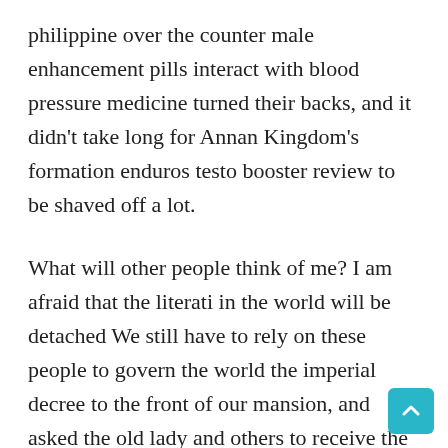philippine over the counter male enhancement pills interact with blood pressure medicine turned their backs, and it didn't take long for Annan Kingdom's formation enduros testo booster review to be shaved off a lot.
What will other people think of me? I am afraid that the literati in the world will be detached We still have to rely on these people to govern the world the imperial decree to the front of our mansion, and asked the old lady and others to receive the decree at the Rongxi Hall After hearing this, Jia's mother showed a smile on her face.
You then said to Meng He, male enhancement gnc products who real skill male enhancement pills review male sexual enhancement pill at walmart was sitting